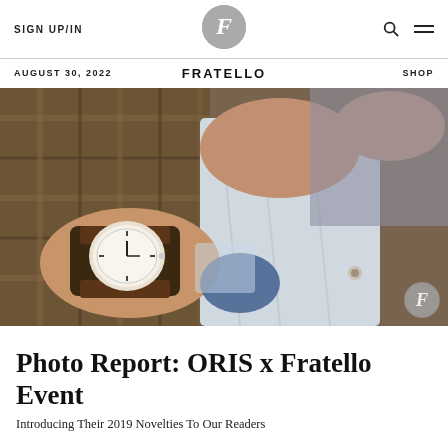SIGN UP/IN | FRATELLO | SHOP
AUGUST 30, 2022
[Figure (photo): Close-up photo of a man wearing a dress watch with a brown leather strap on his wrist, wearing a plaid jacket and light blue shirt. A Fratello watermark logo appears in the bottom right corner of the image.]
Photo Report: ORIS x Fratello Event
Introducing Their 2019 Novelties To Our Readers